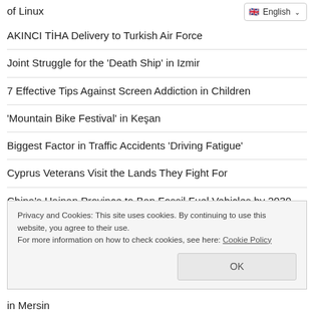of Linux
AKINCI TİHA Delivery to Turkish Air Force
Joint Struggle for the 'Death Ship' in Izmir
7 Effective Tips Against Screen Addiction in Children
'Mountain Bike Festival' in Keşan
Biggest Factor in Traffic Accidents 'Driving Fatigue'
Cyprus Veterans Visit the Lands They Fight For
China's Hainan Province to Ban Fossil Fuel Vehicles by 2030
Istanbul Metropolitan Municipality Delivered Sacrifice Meat to
Privacy and Cookies: This site uses cookies. By continuing to use this website, you agree to their use.
For more information on how to check cookies, see here: Cookie Policy
in Mersin